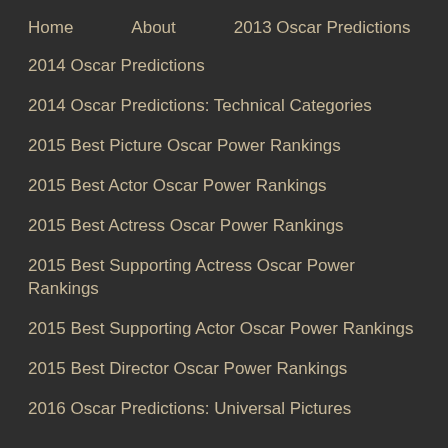Home   About   2013 Oscar Predictions
2014 Oscar Predictions
2014 Oscar Predictions: Technical Categories
2015 Best Picture Oscar Power Rankings
2015 Best Actor Oscar Power Rankings
2015 Best Actress Oscar Power Rankings
2015 Best Supporting Actress Oscar Power Rankings
2015 Best Supporting Actor Oscar Power Rankings
2015 Best Director Oscar Power Rankings
2016 Oscar Predictions: Universal Pictures